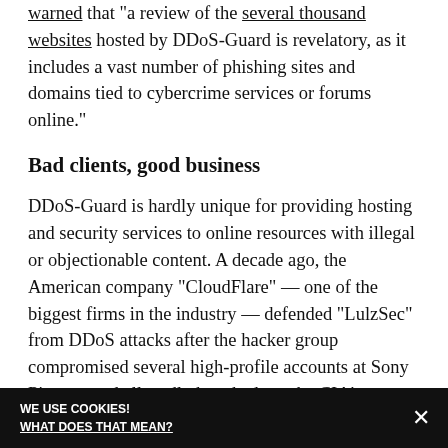warned that "a review of the several thousand websites hosted by DDoS-Guard is revelatory, as it includes a vast number of phishing sites and domains tied to cybercrime services or forums online."
Bad clients, good business
DDoS-Guard is hardly unique for providing hosting and security services to online resources with illegal or objectionable content. A decade ago, the American company “CloudFlare” — one of the biggest firms in the industry — defended “LulzSec” from DDoS attacks after the hacker group compromised several high-profile accounts at Sony Pictures and allegedly knocked out the CIA’s website briefly. After CloudFlare’s involvement was reported, CEO Matthew Prince defended the company, arguing, “[I]f we had removed
WE USE COOKIES! WHAT DOES THAT MEAN?